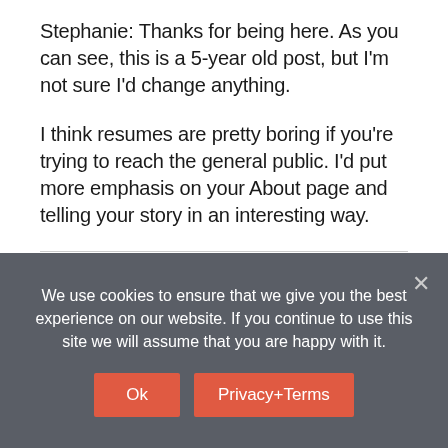Stephanie: Thanks for being here. As you can see, this is a 5-year old post, but I'm not sure I'd change anything.
I think resumes are pretty boring if you're trying to reach the general public. I'd put more emphasis on your About page and telling your story in an interesting way.
We use cookies to ensure that we give you the best experience on our website. If you continue to use this site we will assume that you are happy with it.